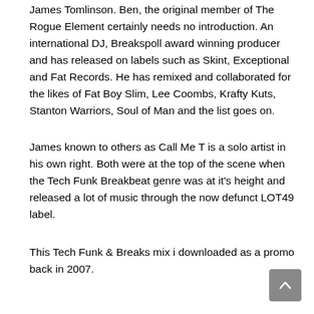James Tomlinson. Ben, the original member of The Rogue Element certainly needs no introduction. An international DJ, Breakspoll award winning producer and has released on labels such as Skint, Exceptional and Fat Records. He has remixed and collaborated for the likes of Fat Boy Slim, Lee Coombs, Krafty Kuts, Stanton Warriors, Soul of Man and the list goes on.
James known to others as Call Me T is a solo artist in his own right. Both were at the top of the scene when the Tech Funk Breakbeat genre was at it's height and released a lot of music through the now defunct LOT49 label.
This Tech Funk & Breaks mix i downloaded as a promo back in 2007.